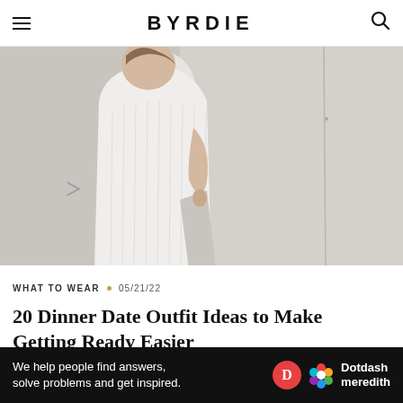BYRDIE
[Figure (photo): A person wearing a long white ribbed knit dress or cardigan, photographed from the side/back against a light concrete wall background. The outfit shows a side slit at the hem.]
WHAT TO WEAR  •  05/21/22
20 Dinner Date Outfit Ideas to Make Getting Ready Easier
[Figure (infographic): Advertisement banner: black background with white text 'We help people find answers, solve problems and get inspired.' alongside the Dotdash Meredith logo (red D circle and colorful flower icon).]